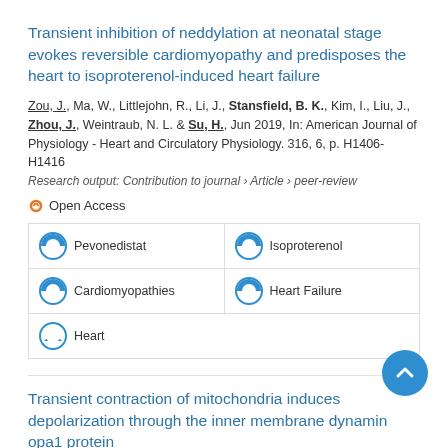Transient inhibition of neddylation at neonatal stage evokes reversible cardiomyopathy and predisposes the heart to isoproterenol-induced heart failure
Zou, J., Ma, W., Littlejohn, R., Li, J., Stansfield, B. K., Kim, I., Liu, J., Zhou, J., Weintraub, N. L. & Su, H., Jun 2019, In: American Journal of Physiology - Heart and Circulatory Physiology. 316, 6, p. H1406-H1416
Research output: Contribution to journal › Article › peer-review
Open Access
Pevonedistat
Isoproterenol
Cardiomyopathies
Heart Failure
Heart
Transient contraction of mitochondria induces depolarization through the inner membrane dynamin opa1 protein
Lee, H. & Yoon, Y., Apr 25 2014, In: Journal of Biological